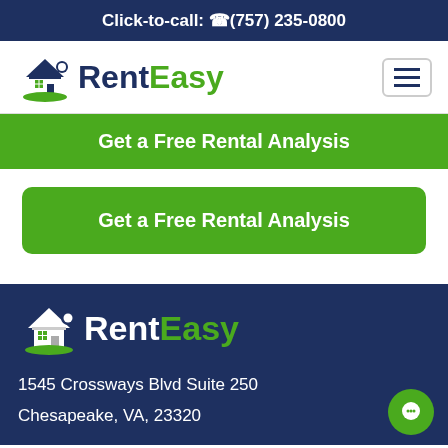Click-to-call: (757) 235-0800
[Figure (logo): RentEasy logo with house icon and hamburger menu button]
Get a Free Rental Analysis
Get a Free Rental Analysis
RentEasy
1545 Crossways Blvd Suite 250
Chesapeake, VA, 23320